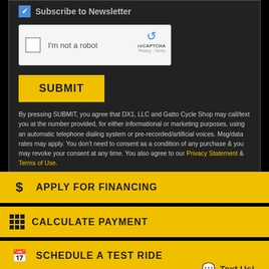Subscribe to Newsletter
[Figure (screenshot): reCAPTCHA widget with checkbox and 'I'm not a robot' label]
SUBMIT
By pressing SUBMIT, you agree that DX1, LLC and Gatto Cycle Shop may call/text you at the number provided, for either informational or marketing purposes, using an automatic telephone dialing system or pre-recorded/artificial voices. Msg/data rates may apply. You don't need to consent as a condition of any purchase & you may revoke your consent at any time. You also agree to our Privacy Statement & Terms of Use.
$ APPLY FOR FINANCING
CALCULATE PAYMENT
SCHEDULE A TEST RIDE
COMPARE MODELS
Text Us!